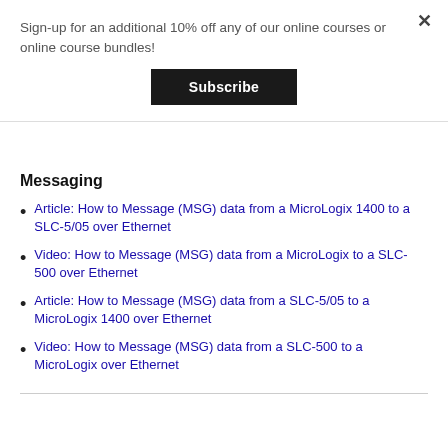Sign-up for an additional 10% off any of our online courses or online course bundles!
Subscribe
Messaging
Article: How to Message (MSG) data from a MicroLogix 1400 to a SLC-5/05 over Ethernet
Video: How to Message (MSG) data from a MicroLogix to a SLC-500 over Ethernet
Article: How to Message (MSG) data from a SLC-5/05 to a MicroLogix 1400 over Ethernet
Video: How to Message (MSG) data from a SLC-500 to a MicroLogix over Ethernet